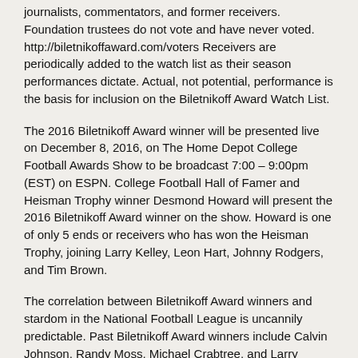journalists, commentators, and former receivers. Foundation trustees do not vote and have never voted. http://biletnikoffaward.com/voters Receivers are periodically added to the watch list as their season performances dictate. Actual, not potential, performance is the basis for inclusion on the Biletnikoff Award Watch List.
The 2016 Biletnikoff Award winner will be presented live on December 8, 2016, on The Home Depot College Football Awards Show to be broadcast 7:00 – 9:00pm (EST) on ESPN. College Football Hall of Famer and Heisman Trophy winner Desmond Howard will present the 2016 Biletnikoff Award winner on the show. Howard is one of only 5 ends or receivers who has won the Heisman Trophy, joining Larry Kelley, Leon Hart, Johnny Rodgers, and Tim Brown.
The correlation between Biletnikoff Award winners and stardom in the National Football League is uncannily predictable. Past Biletnikoff Award winners include Calvin Johnson, Randy Moss, Michael Crabtree, and Larry Fitzgerald.
The 2016 Biletnikoff Award winner will be presented his trophy before 550 patrons at the Biletnikoff Award Banquet at the University Center Club at Doak Campbell Stadium in Tallahassee on Saturday, February 18, 2017. The banquet was hailed by 2014 keynote speaker Dick Vermeil, as well as by